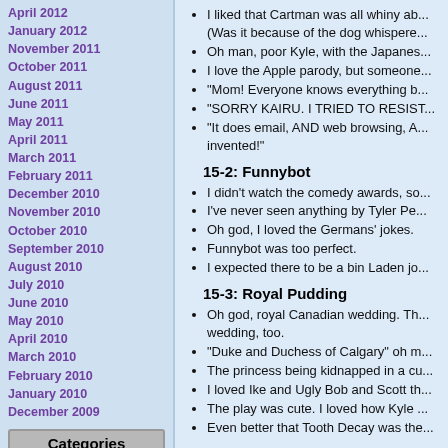April 2012
January 2012
November 2011
October 2011
August 2011
June 2011
May 2011
April 2011
March 2011
February 2011
December 2010
November 2010
October 2010
September 2010
August 2010
July 2010
June 2010
May 2010
April 2010
March 2010
February 2010
January 2010
December 2009
Categories
Anecdote (4)
Comics (4)
Contemplation (13)
I liked that Cartman was all whiny ab... (Was it because of the dog whispere...
Oh man, poor Kyle, with the Japanes...
I love the Apple parody, but someone...
"Mom! Everyone knows everything b...
"SORRY KAIRU. I TRIED TO RESIST...
"It does email, AND web browsing, A... invented!"
15-2: Funnybot
I didn't watch the comedy awards, so...
I've never seen anything by Tyler Pe...
Oh god, I loved the Germans' jokes.
Funnybot was too perfect.
I expected there to be a bin Laden jo...
15-3: Royal Pudding
Oh god, royal Canadian wedding. Th... wedding, too.
"Duke and Duchess of Calgary" oh m...
The princess being kidnapped in a cu...
I loved Ike and Ugly Bob and Scott th...
The play was cute. I loved how Kyle ...
Even better that Tooth Decay was the...
15-4: T.M.I.
Maria Shriver is Skeletor, oh man.
Shield Militia? ...